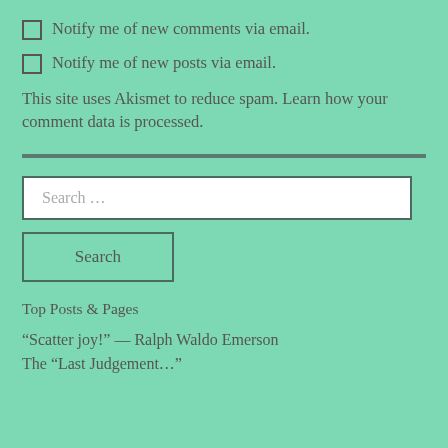Notify me of new comments via email.
Notify me of new posts via email.
This site uses Akismet to reduce spam. Learn how your comment data is processed.
Search ...
Search
Top Posts & Pages
“Scatter joy!” — Ralph Waldo Emerson
The "Last Judgement..."